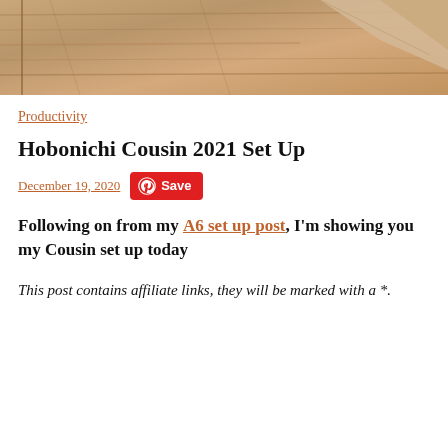[Figure (photo): Hero image showing a wooden surface with paper/envelope items, warm brown tones]
Productivity
Hobonichi Cousin 2021 Set Up
December 19, 2020  [Pinterest Save button]
Following on from my A6 set up post, I'm showing you my Cousin set up today
This post contains affiliate links, they will be marked with a *.